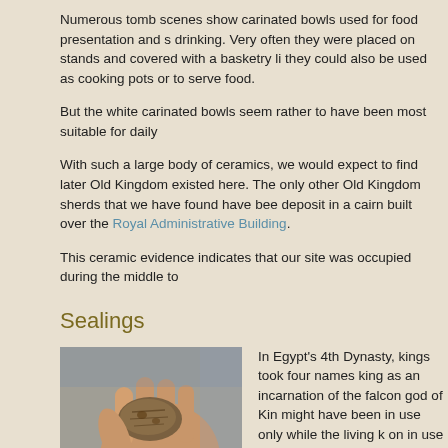Numerous tomb scenes show carinated bowls used for food presentation and s drinking. Very often they were placed on stands and covered with a basketry li they could also be used as cooking pots or to serve food.
But the white carinated bowls seem rather to have been most suitable for daily
With such a large body of ceramics, we would expect to find later Old Kingdom existed here. The only other Old Kingdom sherds that we have found have bee deposit in a cairn built over the Royal Administrative Building.
This ceramic evidence indicates that our site was occupied during the middle to
Sealings
[Figure (photo): A hand holding an inscribed royal mud sealing artifact, brownish clay piece with inscriptions visible]
An inscribed royal sealing
In Egypt's 4th Dynasty, kings took four names king as an incarnation of the falcon god of Kin might have been in use only while the living k on in use after his death in the service to his p
We have found the Horus names of Khafre ar
Mud sealings offer important clues to the past a rubber eraser, served as a kind of security s